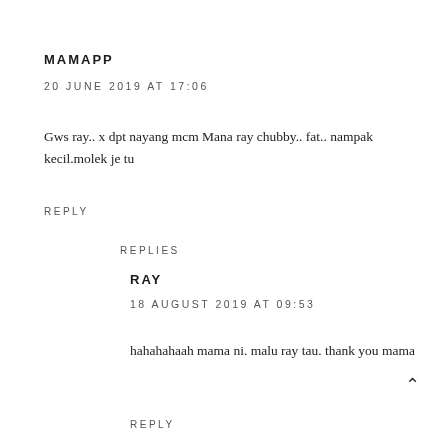MAMAPP
20 JUNE 2019 AT 17:06
Gws ray.. x dpt nayang mcm Mana ray chubby.. fat.. nampak kecil.molek je tu
REPLY
REPLIES
RAY
18 AUGUST 2019 AT 09:53
hahahahaah mama ni. malu ray tau. thank you mama
REPLY